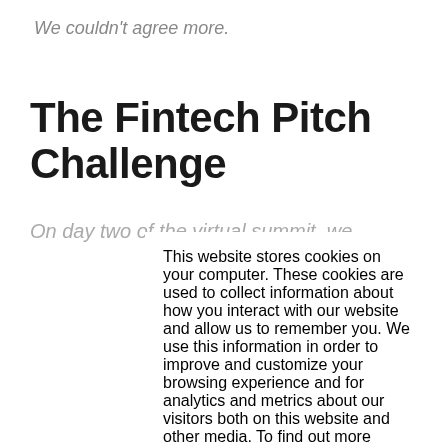We couldn't agree more.
The Fintech Pitch Challenge
On day two of the virtual summit, we
This website stores cookies on your computer. These cookies are used to collect information about how you interact with our website and allow us to remember you. We use this information in order to improve and customize your browsing experience and for analytics and metrics about our visitors both on this website and other media. To find out more about the cookies we use, see our Privacy Policy
If you decline, your information won't be tracked when you visit this website. A single cookie will be used in your browser to remember your preference not to be tracked.
Accept
Decline